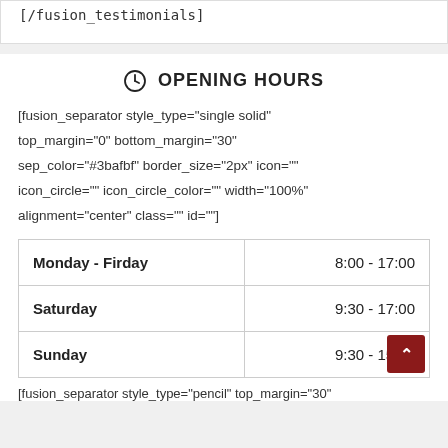[/fusion_testimonials]
OPENING HOURS
[fusion_separator style_type="single solid" top_margin="0" bottom_margin="30" sep_color="#3bafbf" border_size="2px" icon="" icon_circle="" icon_circle_color="" width="100%" alignment="center" class="" id=""]
| Day | Hours |
| --- | --- |
| Monday - Firday | 8:00 - 17:00 |
| Saturday | 9:30 - 17:00 |
| Sunday | 9:30 - 15:00 |
[fusion_separator style_type="pencil" top_margin="30"